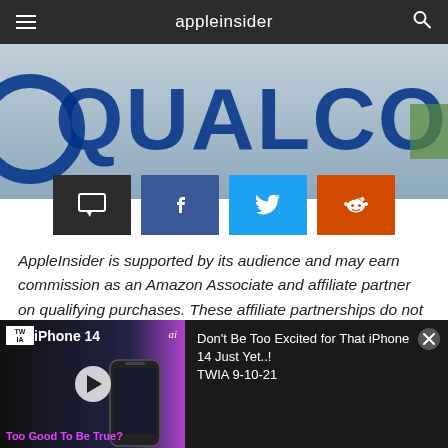appleinsider
[Figure (photo): Qualcomm logo on a wall, blue lettering, partial view]
[Figure (infographic): Share buttons row: comment (dark), Facebook (blue), Twitter (blue), Reddit (orange)]
AppleInsider is supported by its audience and may earn commission as an Amazon Associate and affiliate partner on qualifying purchases. These affiliate partnerships do not influence our editorial content.
Already coping with a $1.1 billion ruling from 2018,
[Figure (screenshot): Video thumbnail for TWIA 9-10-21: iPhone 14 - Too Good To Be True? with play button overlay]
Don't Be Too Excited for That iPhone 14 Just Yet..! TWIA 9-10-21